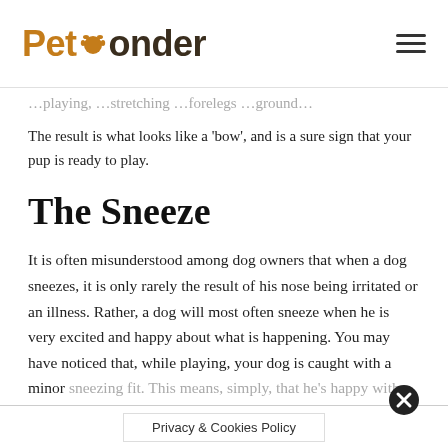PetPonder
The result is what looks like a 'bow', and is a sure sign that your pup is ready to play.
The Sneeze
It is often misunderstood among dog owners that when a dog sneezes, it is only rarely the result of his nose being irritated or an illness. Rather, a dog will most often sneeze when he is very excited and happy about what is happening. You may have noticed that, while playing, your dog is caught with a minor sneezing fit. This means, simply, that he's happy with you and with life in general.
Privacy & Cookies Policy